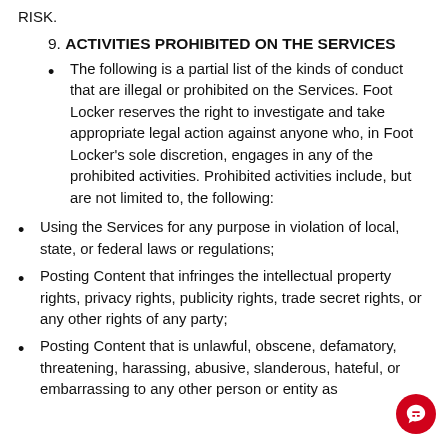RISK.
9. ACTIVITIES PROHIBITED ON THE SERVICES
The following is a partial list of the kinds of conduct that are illegal or prohibited on the Services. Foot Locker reserves the right to investigate and take appropriate legal action against anyone who, in Foot Locker's sole discretion, engages in any of the prohibited activities. Prohibited activities include, but are not limited to, the following:
Using the Services for any purpose in violation of local, state, or federal laws or regulations;
Posting Content that infringes the intellectual property rights, privacy rights, publicity rights, trade secret rights, or any other rights of any party;
Posting Content that is unlawful, obscene, defamatory, threatening, harassing, abusive, slanderous, hateful, or embarrassing to any other person or entity as...